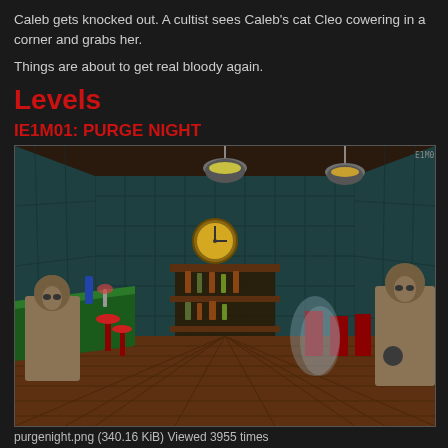Caleb gets knocked out. A cultist sees Caleb's cat Cleo cowering in a corner and grabs her.
Things are about to get real bloody again.
Levels
IE1M01: PURGE NIGHT
[Figure (screenshot): First-person view of a bar/saloon interior from the video game Blood, showing robed cultist enemies, bar counter, hanging lights, clock on wall, and wooden floor.]
purgenight.png (340.16 KiB) Viewed 3955 times